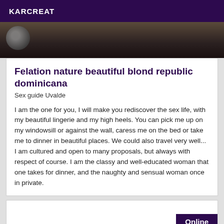KARCREAT
[Figure (photo): Close-up photo strip of a person, dark blurred background]
Felation nature beautiful blond republic dominicana
Sex guide Uvalde
I am the one for you, I will make you rediscover the sex life, with my beautiful lingerie and my high heels. You can pick me up on my windowsill or against the wall, caress me on the bed or take me to dinner in beautiful places. We could also travel very well... I am cultured and open to many proposals, but always with respect of course. I am the classy and well-educated woman that one takes for dinner, and the naughty and sensual woman once in private.
Online